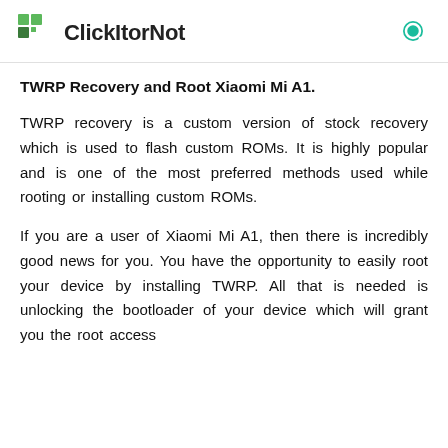ClickItorNot
TWRP Recovery and Root Xiaomi Mi A1.
TWRP recovery is a custom version of stock recovery which is used to flash custom ROMs. It is highly popular and is one of the most preferred methods used while rooting or installing custom ROMs.
If you are a user of Xiaomi Mi A1, then there is incredibly good news for you. You have the opportunity to easily root your device by installing TWRP. All that is needed is unlocking the bootloader of your device which will grant you the root access